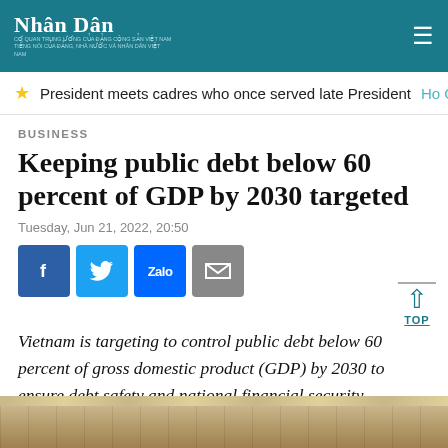Nhân Dân
President meets cadres who once served late President Ho Ch
BUSINESS
Keeping public debt below 60 percent of GDP by 2030 targeted
Tuesday, Jun 21, 2022, 20:50
[Figure (infographic): Social sharing buttons: Facebook, Twitter, Zalo, Email]
Vietnam is targeting to control public debt below 60 percent of gross domestic product (GDP) by 2030 to ensure debt safety and national financial security.
[Figure (photo): Bottom image strip showing interior ceiling/architecture]